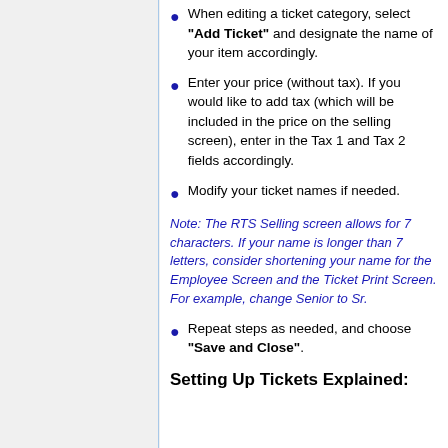When editing a ticket category, select "Add Ticket" and designate the name of your item accordingly.
Enter your price (without tax). If you would like to add tax (which will be included in the price on the selling screen), enter in the Tax 1 and Tax 2 fields accordingly.
Modify your ticket names if needed.
Note: The RTS Selling screen allows for 7 characters. If your name is longer than 7 letters, consider shortening your name for the Employee Screen and the Ticket Print Screen. For example, change Senior to Sr.
Repeat steps as needed, and choose "Save and Close".
Setting Up Tickets Explained: